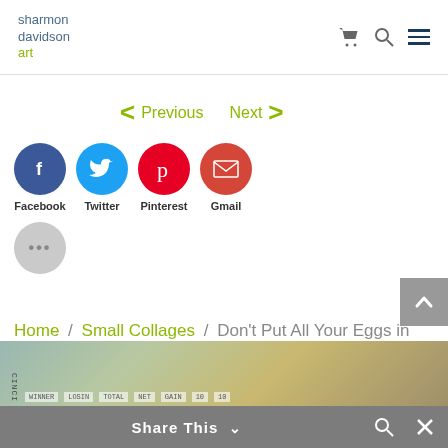sharmon davidson art
< Previous  Next >
[Figure (infographic): Social sharing buttons: Facebook (dark blue circle with f), Twitter (blue circle with bird), Pinterest (red circle with p), Gmail (orange-red circle with envelope icon), each with label below. A light grey circle with ellipsis (...) for more options.]
Home / Small Collages / Don't Put All Your Eggs in One Basket
[Figure (photo): Partial view of a collage artwork with text fragments and layered papers]
Share This